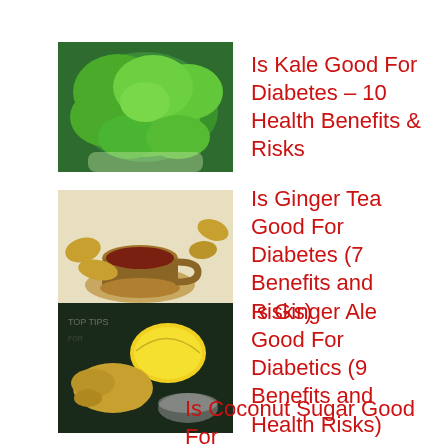[Figure (photo): Bowl of fresh green kale leaves]
Is Kale Good For Diabetes – 10 Health Benefits & Risks
[Figure (photo): Cup of ginger tea on a saucer with ginger root pieces]
Is Ginger Tea Good For Diabetes (7 Benefits and Risks)
[Figure (photo): Ginger root and lemon on dark background with text]
Is Ginger Ale Good For Diabetics (9 Benefits and Health Risks)
Is Coconut Sugar Good For